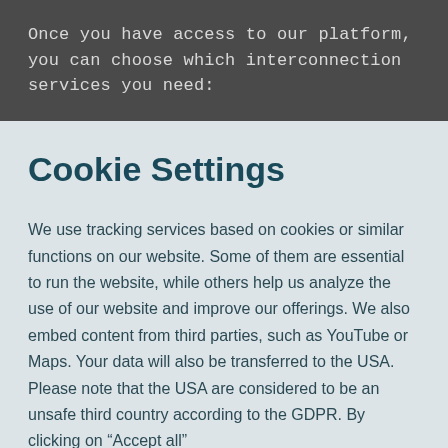Once you have access to our platform, you can choose which interconnection services you need:
Cookie Settings
We use tracking services based on cookies or similar functions on our website. Some of them are essential to run the website, while others help us analyze the use of our website and improve our offerings. We also embed content from third parties, such as YouTube or Maps. Your data will also be transferred to the USA. Please note that the USA are considered to be an unsafe third country according to the GDPR. By clicking on “Accept all”